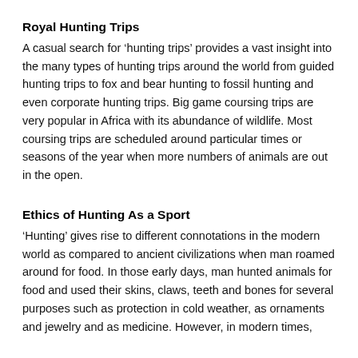Royal Hunting Trips
A casual search for ‘hunting trips’ provides a vast insight into the many types of hunting trips around the world from guided hunting trips to fox and bear hunting to fossil hunting and even corporate hunting trips. Big game coursing trips are very popular in Africa with its abundance of wildlife. Most coursing trips are scheduled around particular times or seasons of the year when more numbers of animals are out in the open.
Ethics of Hunting As a Sport
‘Hunting’ gives rise to different connotations in the modern world as compared to ancient civilizations when man roamed around for food. In those early days, man hunted animals for food and used their skins, claws, teeth and bones for several purposes such as protection in cold weather, as ornaments and jewelry and as medicine. However, in modern times,